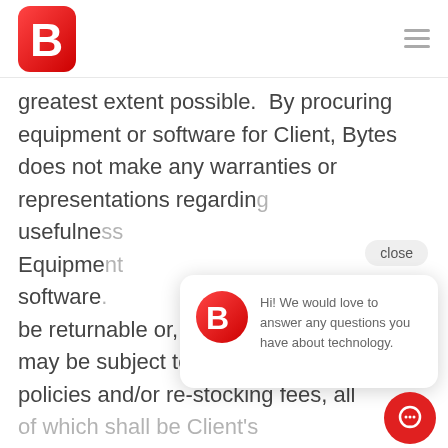Bytes Technology Group
greatest extent possible.  By procuring equipment or software for Client, Bytes does not make any warranties or representations regarding usefulne [ss of the] Equipme[nt or] software [— items may] be returnable or, in certain cases, may be subject to third-party return policies and/or re-stocking fees, all of which shall be Client's
[Figure (screenshot): Chat popup widget with Bytes logo icon and message: Hi! We would love to answer any questions you have about technology. With a close button and red FAB chat button.]